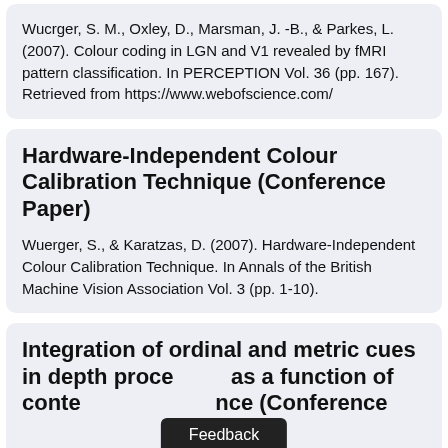Wucrger, S. M., Oxley, D., Marsman, J. -B., & Parkes, L. (2007). Colour coding in LGN and V1 revealed by fMRI pattern classification. In PERCEPTION Vol. 36 (pp. 167). Retrieved from https://www.webofscience.com/
Hardware-Independent Colour Calibration Technique (Conference Paper)
Wuerger, S., & Karatzas, D. (2007). Hardware-Independent Colour Calibration Technique. In Annals of the British Machine Vision Association Vol. 3 (pp. 1-10).
Integration of ordinal and metric cues in depth processing as a function of contextual experience (Conference